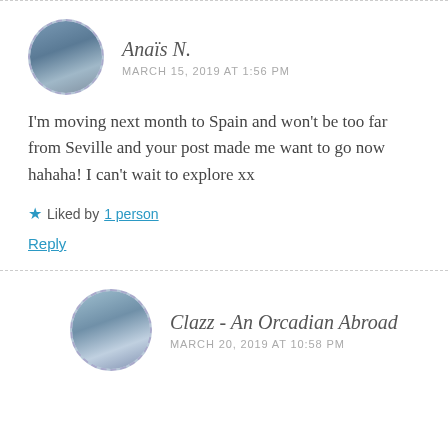Anaïs N.
MARCH 15, 2019 AT 1:56 PM
I'm moving next month to Spain and won't be too far from Seville and your post made me want to go now hahaha! I can't wait to explore xx
★ Liked by 1 person
Reply
Clazz - An Orcadian Abroad
MARCH 20, 2019 AT 10:58 PM